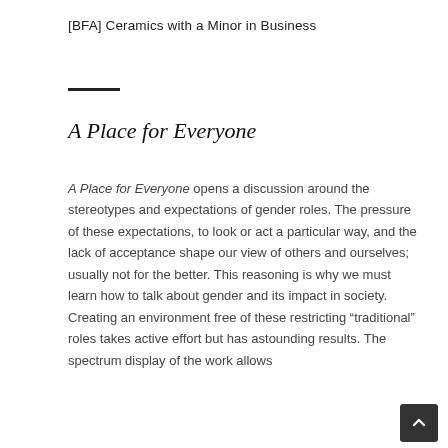[BFA] Ceramics with a Minor in Business
A Place for Everyone
A Place for Everyone opens a discussion around the stereotypes and expectations of gender roles. The pressure of these expectations, to look or act a particular way, and the lack of acceptance shape our view of others and ourselves; usually not for the better. This reasoning is why we must learn how to talk about gender and its impact in society. Creating an environment free of these restricting “traditional” roles takes active effort but has astounding results. The spectrum display of the work allows